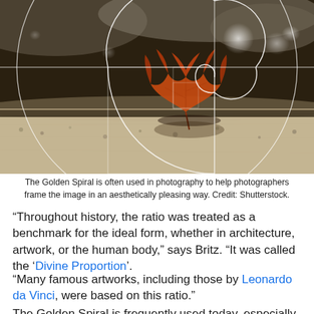[Figure (photo): Autumn maple leaf lying on wet asphalt pavement, photographed close to ground level with shallow depth of field and bokeh background. White Golden Ratio spiral and rectangular grid overlaid on the image to illustrate the Golden Spiral composition technique.]
The Golden Spiral is often used in photography to help photographers frame the image in an aesthetically pleasing way. Credit: Shutterstock.
“Throughout history, the ratio was treated as a benchmark for the ideal form, whether in architecture, artwork, or the human body,” says Britz. “It was called the ‘Divine Proportion’.
“Many famous artworks, including those by Leonardo da Vinci, were based on this ratio.”
The Golden Spiral is frequently used today, especially in art...